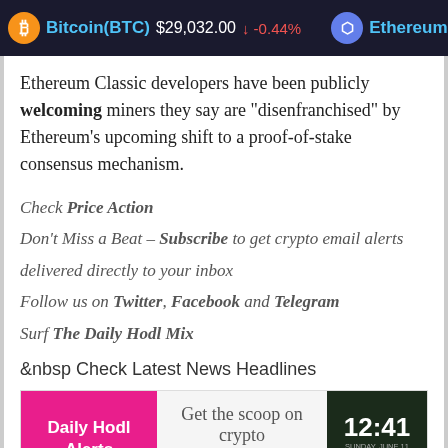Bitcoin(BTC) $29,032.00 ↓ -0.44%   Ethereum(ETH) $1,778.5
Ethereum Classic developers have been publicly welcoming miners they say are "disenfranchised" by Ethereum's upcoming shift to a proof-of-stake consensus mechanism.
Check Price Action
Don't Miss a Beat – Subscribe to get crypto email alerts delivered directly to your inbox
Follow us on Twitter, Facebook and Telegram
Surf The Daily Hodl Mix
&nbsp Check Latest News Headlines
[Figure (infographic): Daily Hodl Alerts advertisement banner. Pink left panel with white bold text 'Daily Hodl Alerts'. Center panel with text 'Get the scoop on crypto' and subtitle 'Hit the red bell on the bottom-right of your screen'. Right panel shows a dark smartphone screen displaying time 12:41.]
DISCLAIMER: OPINIONS EXPRESSED AT THE DAILY HODL ARE NOT INVESTMENT ADVICE. INVESTORS SHOULD DO THEIR DUE DILIGENCE BEFORE MAKING ANY HIGH-RISK